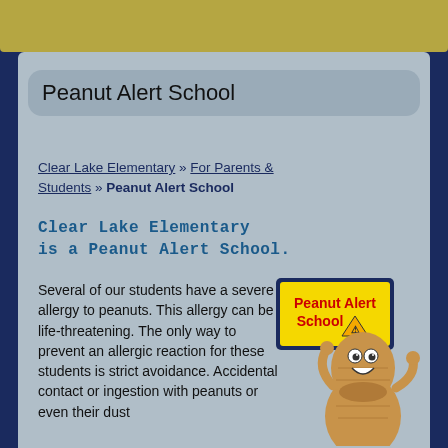Peanut Alert School
Clear Lake Elementary » For Parents & Students » Peanut Alert School
Clear Lake Elementary is a Peanut Alert School.
Several of our students have a severe allergy to peanuts. This allergy can be life-threatening. The only way to prevent an allergic reaction for these students is strict avoidance. Accidental contact or ingestion with peanuts or even their dust
[Figure (illustration): Cartoon peanut mascot character holding a sign that reads 'Peanut Alert School' with a warning triangle icon. The peanut character is smiling and gesturing with one hand.]